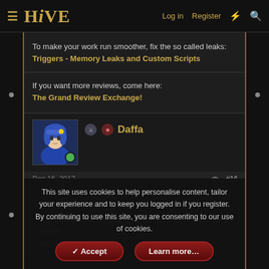HIVE — Log in  Register
To make your work run smoother, fix the so called leaks: Triggers - Memory Leaks and Custom Scripts
If you want more reviews, come here:
The Grand Review Exchange!
Daffa
Dec 16, 2017  #16
deepstrasz said: ➔
You should have a loading screen so it won't look like a melee map is being loaded.
This site uses cookies to help personalise content, tailor your experience and to keep you logged in if you register.
By continuing to use this site, you are consenting to our use of cookies.
✓ Accept    Learn more…